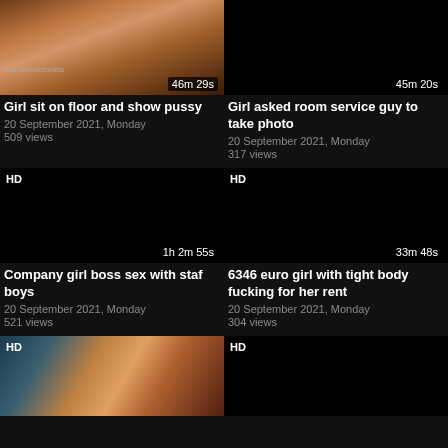[Figure (screenshot): Video thumbnail showing two women on floor, duration 46m 29s]
Girl sit on floor and show pussy
20 September 2021, Monday
509 views
[Figure (screenshot): Black video thumbnail, duration 45m 20s]
Girl asked room service guy to take photo
20 September 2021, Monday
317 views
[Figure (screenshot): Black HD video thumbnail, duration 1h 2m 55s]
Company girl boss sex with staf boys
20 September 2021, Monday
521 views
[Figure (screenshot): Black HD video thumbnail, duration 33m 48s]
6346 euro girl with tight body fucking for her rent
20 September 2021, Monday
304 views
[Figure (screenshot): HD video thumbnail with woman outdoors by pool]
[Figure (screenshot): Black HD video thumbnail, partial view]